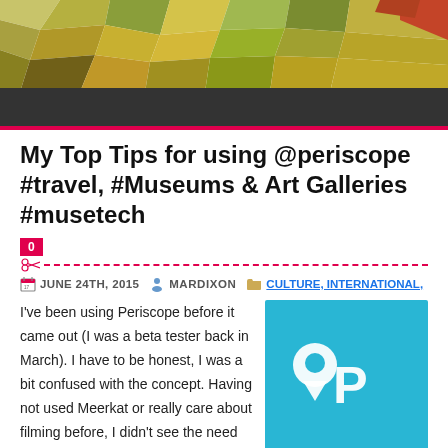[Figure (illustration): Polygonal mosaic header image in greens, yellows, browns, with dark bar and pink accent bar at bottom]
My Top Tips for using @periscope #travel, #Museums & Art Galleries #musetech
0
JUNE 24TH, 2015   MARDIXON   CULTURE, INTERNATIONAL,
I've been using Periscope before it came out (I was a beta tester back in March).  I have to be honest, I was a bit confused with the concept.  Having not used Meerkat or really care about filming before, I didn't see the need for live streaming. Why would anyone use it that wasn't at a conference?
Then I started to play with it. First around my town,
[Figure (screenshot): Periscope app logo/screenshot with teal background and Periscope teardrop location icon]